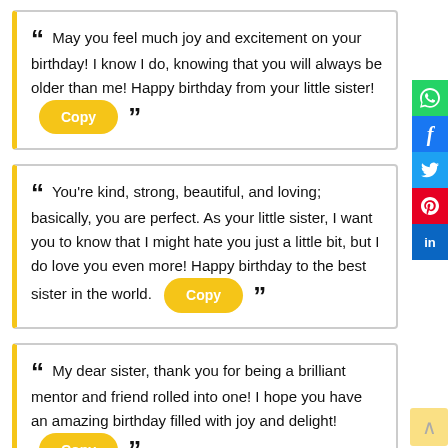“ May you feel much joy and excitement on your birthday! I know I do, knowing that you will always be older than me! Happy birthday from your little sister! [Copy] ”
“ You’re kind, strong, beautiful, and loving; basically, you are perfect. As your little sister, I want you to know that I might hate you just a little bit, but I do love you even more! Happy birthday to the best sister in the world. [Copy] ”
“ My dear sister, thank you for being a brilliant mentor and friend rolled into one! I hope you have an amazing birthday filled with joy and delight! [Copy] ”